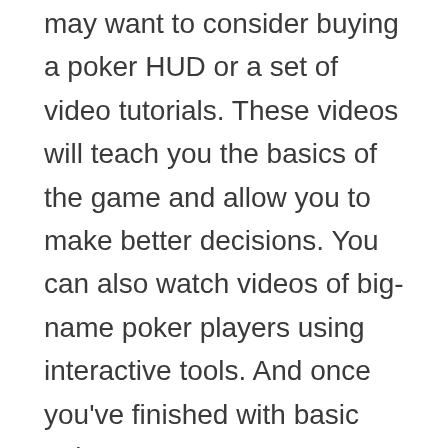may want to consider buying a poker HUD or a set of video tutorials. These videos will teach you the basics of the game and allow you to make better decisions. You can also watch videos of big-name poker players using interactive tools. And once you've finished with basic poker strategy, you can upgrade to advanced strategies. So, the next time you play online poker, be sure to check out some of these tips and tricks! They will ensure you win more frequently!
While some states have legalized online poker, others are looking to follow suit. For example, Pennsylvania has already legalized